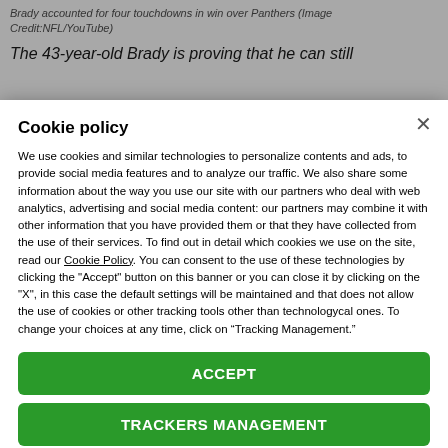Brady accounted for four touchdowns in win over Panthers (Image Credit:NFL/YouTube)
The 43-year-old Brady is proving that he can still
Cookie policy
We use cookies and similar technologies to personalize contents and ads, to provide social media features and to analyze our traffic. We also share some information about the way you use our site with our partners who deal with web analytics, advertising and social media content: our partners may combine it with other information that you have provided them or that they have collected from the use of their services. To find out in detail which cookies we use on the site, read our Cookie Policy. You can consent to the use of these technologies by clicking the "Accept" button on this banner or you can close it by clicking on the "X", in this case the default settings will be maintained and that does not allow the use of cookies or other tracking tools other than technologycal ones. To change your choices at any time, click on “Tracking Management.”
ACCEPT
TRACKERS MANAGEMENT
Show vendors | Show purposes